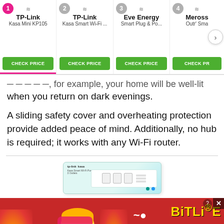[Figure (screenshot): Product comparison bar showing 4 smart plugs: 1) TP-Link Kasa Mini KP105, 2) TP-Link Kasa Smart Wi-Fi..., 3) Eve Energy Smart Plug & Po..., 4) Meross Outdoor Smart... Each with a green CHECK PRICE button. A navigation arrow is on the right. Card 1 has a pink underline indicator.]
when you return on dark evenings.
A sliding safety cover and overheating protection provide added peace of mind. Additionally, no hub is required; it works with any Wi-Fi router.
[Figure (photo): Product box image of TP-Link Kasa Smart Wi-Fi Power Strip with sockets visible on white/teal packaging]
[Figure (screenshot): Advertisement banner for BitLife game with red background, fire graphics, a cartoon character face-palming, FAIL text, and START A NEW LIFE text on black background]